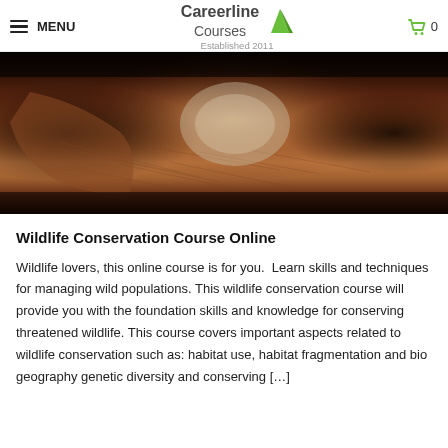MENU | Careerline Courses Established 2011 | 0
[Figure (photo): Close-up photo of hands handling wildlife or soil/nesting material in an outdoor natural environment, showing browns and earth tones.]
Wildlife Conservation Course Online
Wildlife lovers, this online course is for you.  Learn skills and techniques for managing wild populations. This wildlife conservation course will provide you with the foundation skills and knowledge for conserving threatened wildlife. This course covers important aspects related to wildlife conservation such as: habitat use, habitat fragmentation and bio geography genetic diversity and conserving […]